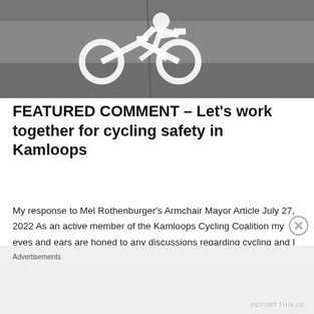[Figure (photo): Overhead photo of a road surface showing a white painted bicycle lane symbol (cyclist icon) on asphalt pavement, partially visible from above]
FEATURED COMMENT – Let's work together for cycling safety in Kamloops
My response to Mel Rothenburger's Armchair Mayor Article July 27, 2022 As an active member of the Kamloops Cycling Coalition my eyes and ears are honed to any discussions regarding cycling and I welcome a robust public discussion on the topic - it's what is needed to generate the will to… Continue reading
Advertisements